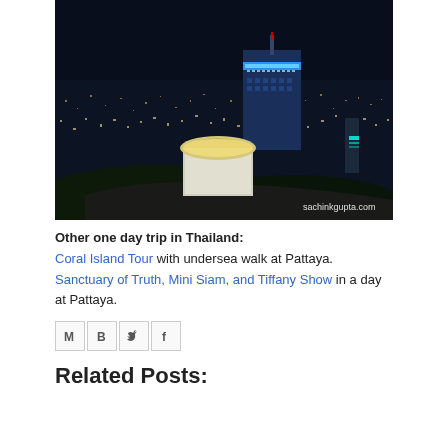[Figure (photo): Night cityscape of Bangkok/Pattaya viewed from a high rooftop. A glowing white bowl-shaped sculpture sits on a pedestal in the foreground. A tall building with blue neon lights dominates the center-right background. City lights spread across the horizon. Watermark reads sachinkgupta.com in lower right.]
Other one day trip in Thailand: Coral Island Tour with undersea walk at Pattaya. Sanctuary of Truth, Mini Siam, and Tiffany Show in a day at Pattaya.
[Figure (other): Social sharing icons row: Gmail (M), Blogger (B), Twitter bird, Facebook (f)]
Related Posts: